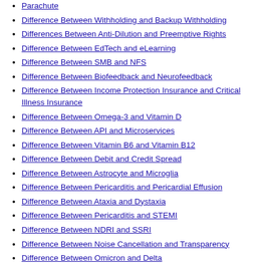Parachute
Difference Between Withholding and Backup Withholding
Differences Between Anti-Dilution and Preemptive Rights
Difference Between EdTech and eLearning
Difference Between SMB and NFS
Difference Between Biofeedback and Neurofeedback
Difference Between Income Protection Insurance and Critical Illness Insurance
Difference Between Omega-3 and Vitamin D
Difference Between API and Microservices
Difference Between Vitamin B6 and Vitamin B12
Difference Between Debit and Credit Spread
Difference Between Astrocyte and Microglia
Difference Between Pericarditis and Pericardial Effusion
Difference Between Ataxia and Dystaxia
Difference Between Pericarditis and STEMI
Difference Between NDRI and SSRI
Difference Between Noise Cancellation and Transparency
Difference Between Omicron and Delta
Difference Between On-Ear and Over-Ear Headphones
Difference Between Housing Prices and Consumer Price Index
Difference Between Consumer Price Index and Inflation
Difference Between Pericarditis and Endocarditis
"The Midnight Sky" Screenplay Book of 2020 Netflix